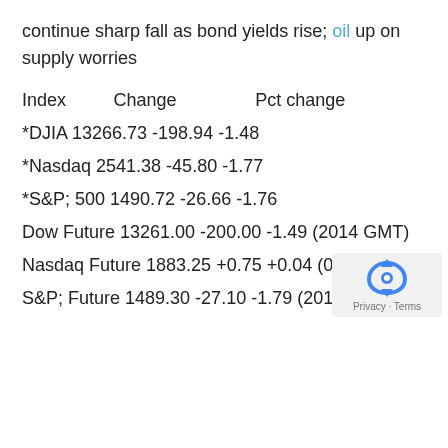continue sharp fall as bond yields rise; oil up on supply worries
| Index | Change | Pct change |
| --- | --- | --- |
| *DJIA | 13266.73 | -198.94 | -1.48 |
| *Nasdaq | 2541.38 | -45.80 | -1.77 |
| *S&P; 500 | 1490.72 | -26.66 | -1.76 |
| Dow Future | 13261.00 | -200.00 | -1.49 (2014 GMT) |
| Nasdaq Future | 1883.25 | +0.75 | +0.04 (0324 GMT) |
| S&P; Future | 1489.30 | -27.10 | -1.79 (2018 GMT) |